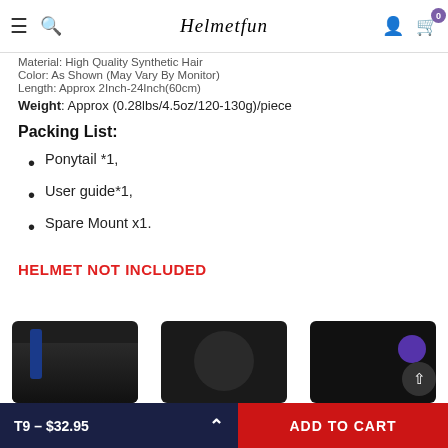Helmetfun — navigation header with logo, search, user, and cart icons
Material: High Quality Synthetic Hair
Color: As Shown (May Vary by Monitor)
Length: Approx 2Inch-24Inch(60cm)
Weight: Approx (0.28lbs/4.5oz/120-130g)/piece
Packing List:
Ponytail *1,
User guide*1,
Spare Mount x1.
HELMET NOT INCLUDED
[Figure (photo): Three product images showing helmet ponytail attachments in dark colors (black and dark blue), partially visible at bottom of page]
T9 – $32.95  ADD TO CART